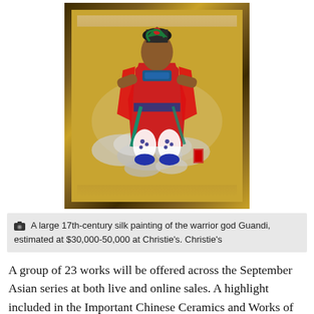[Figure (photo): A large 17th-century silk painting of the warrior god Guandi in a ornate gilded frame with black lacquer and gold decoration. The painting shows a colorful figure in red robes standing on clouds.]
A large 17th-century silk painting of the warrior god Guandi, estimated at $30,000-50,000 at Christie's. Christie's
A group of 23 works will be offered across the September Asian series at both live and online sales. A highlight included in the Important Chinese Ceramics and Works of Art sale on September 23 (estimate